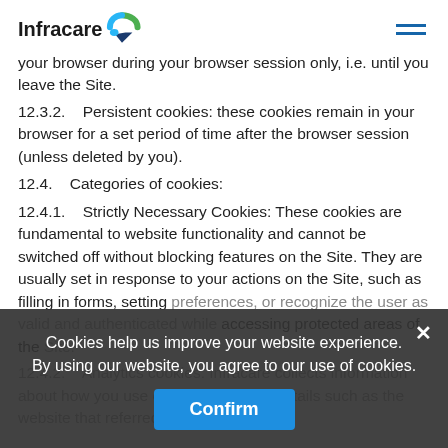Infracare [logo]
your browser during your browser session only, i.e. until you leave the Site.
12.3.2.    Persistent cookies: these cookies remain in your browser for a set period of time after the browser session (unless deleted by you).
12.4.    Categories of cookies:
12.4.1.    Strictly Necessary Cookies: These cookies are fundamental to website functionality and cannot be switched off without blocking features on the Site. They are usually set in response to your actions on the Site, such as filling in forms, setting preferences, or recognize the user as valid and authenticated while accessing protected areas of the Site.
12.4.2.    Analytics cookies: Infracare collects information about how you use our Site including details such as the website that referred you (e…
Cookies help us improve your website experience.
By using our website, you agree to our use of cookies.
Confirm